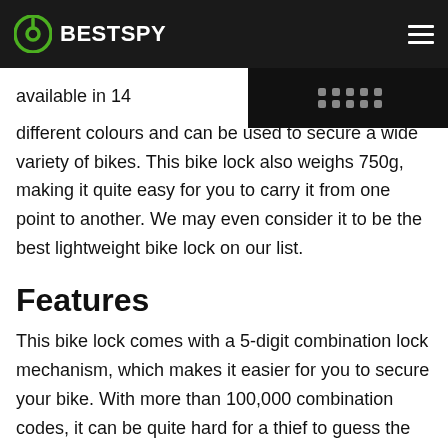BESTSPY
[Figure (photo): Partial image of a bike lock with combination dials visible, dark background, top right corner]
available in 14 different colours and can be used to secure a wide variety of bikes. This bike lock also weighs 750g, making it quite easy for you to carry it from one point to another. We may even consider it to be the best lightweight bike lock on our list.
Features
This bike lock comes with a 5-digit combination lock mechanism, which makes it easier for you to secure your bike. With more than 100,000 combination codes, it can be quite hard for a thief to guess the right code.